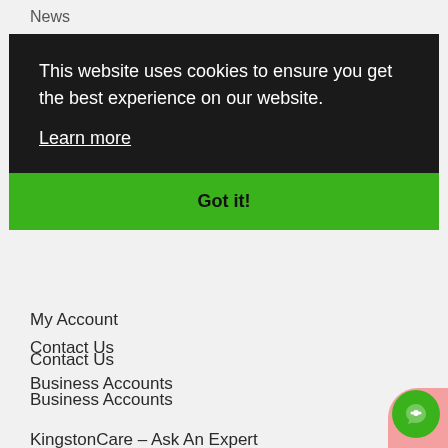News
This website uses cookies to ensure you get the best experience on our website.
Learn more
Got it!
My Account
Contact Us
Business Accounts
KingstonCare – Ask An Expert
Delivery & Returns
Product Warranty
Ways to Pay